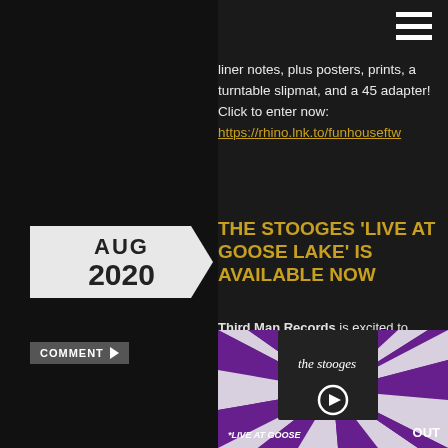liner notes, plus posters, prints, a turntable slipmat, and a 45 adapter! Click to enter now: https://rhino.lnk.to/funhouseftw
[Figure (other): Date badge showing AUG 2020 in a gray arrow/chevron shape]
COMMENT
THE STOOGES 'LIVE AT GOOSE LAKE' IS AVAILABLE NOW
Third Man Records is excited to announce The Stooges Live At Goose Lake: August 8, 1970 is available now. This previously-unheard, high-quality soundboard recording of the original Stooges lineup's final performance — recorded just before the release of their earthshaking 1970 album Fun House can be found on CD, vinyl and streaming services.
[Figure (photo): Bottom portion of The Stooges 'Live At Goose Lake' album art with purple and white sunburst rays, text 'the stooges', '*LIVE AT GOOSE', and 'OUT']